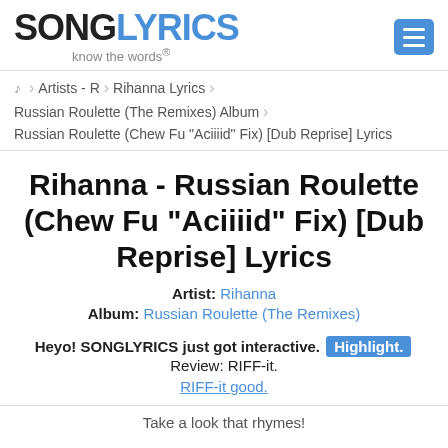[Figure (logo): SONGLYRICS logo with 'know the words' tagline, and a blue hamburger menu button]
♪ › Artists - R › Rihanna Lyrics ›
Russian Roulette (The Remixes) Album ›
Russian Roulette (Chew Fu "Aciiiid" Fix) [Dub Reprise] Lyrics
Rihanna - Russian Roulette (Chew Fu "Aciiiid" Fix) [Dub Reprise] Lyrics
Artist: Rihanna
Album: Russian Roulette (The Remixes)
Heyo! SONGLYRICS just got interactive. Highlight. Review: RIFF-it. RIFF-it good.
Take a look that rhymes!